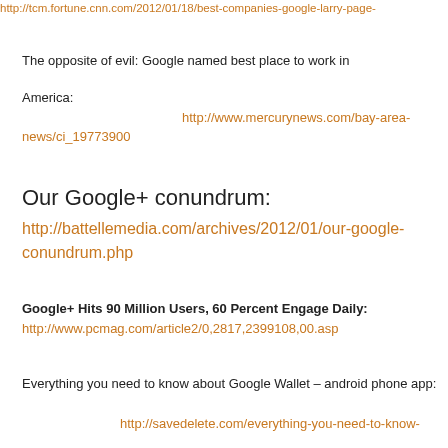http://tcm.fortune.cnn.com/2012/01/18/best-companies-google-larry-page-
The opposite of evil: Google named best place to work in America:
http://www.mercurynews.com/bay-area-news/ci_19773900
Our Google+ conundrum:
http://battellemedia.com/archives/2012/01/our-google-conundrum.php
Google+ Hits 90 Million Users, 60 Percent Engage Daily:
http://www.pcmag.com/article2/0,2817,2399108,00.asp
Everything you need to know about Google Wallet – android phone app:
http://savedelete.com/everything-you-need-to-know-